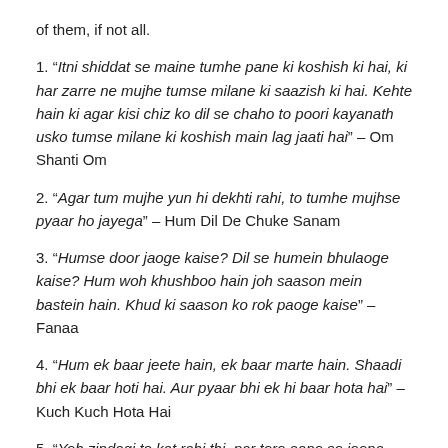of them, if not all.
1. “Itni shiddat se maine tumhe pane ki koshish ki hai, ki har zarre ne mujhe tumse milane ki saazish ki hai. Kehte hain ki agar kisi chiz ko dil se chaho to poori kayanath usko tumse milane ki koshish main lag jaati hai” – Om Shanti Om
2. “Agar tum mujhe yun hi dekhti rahi, to tumhe mujhse pyaar ho jayega” – Hum Dil De Chuke Sanam
3. “Humse door jaoge kaise? Dil se humein bhulaoge kaise? Hum woh khushboo hain joh saason mein bastein hain. Khud ki saason ko rok paoge kaise” – Fanaa
4. “Hum ek baar jeete hain, ek baar marte hain. Shaadi bhi ek baar hoti hai. Aur pyaar bhi ek hi baar hota hai” – Kuch Kuch Hota Hai
5. “Yeh zindagi to kat rahi thi, par tere aane se jeena shuru